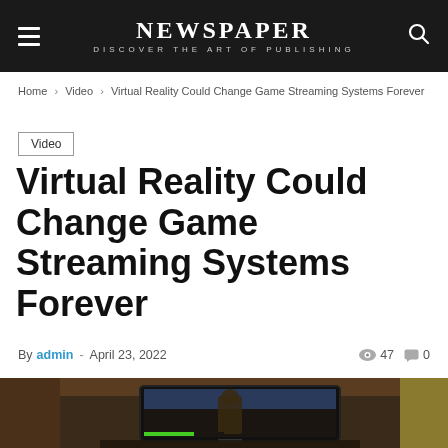NEWSPAPER · DISCOVER THE ART OF PUBLISHING
Home › Video › Virtual Reality Could Change Game Streaming Systems Forever
Video
Virtual Reality Could Change Game Streaming Systems Forever
By admin - April 23, 2022  👁 47  💬 0
[Figure (photo): A TV screen showing a video game (appears to be Fallout 4) with a character in armor, photographed indoors with a blurred room background.]